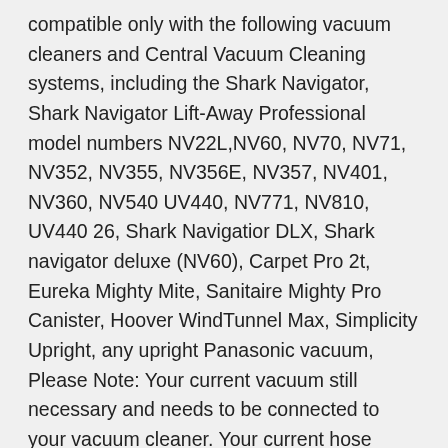compatible only with the following vacuum cleaners and Central Vacuum Cleaning systems, including the Shark Navigator, Shark Navigator Lift-Away Professional model numbers NV22L,NV60, NV70, NV71, NV352, NV355, NV356E, NV357, NV401, NV360, NV540 UV440, NV771, NV810, UV440 26, Shark Navigatior DLX, Shark navigator deluxe (NV60), Carpet Pro 2t, Eureka Mighty Mite, Sanitaire Mighty Pro Canister, Hoover WindTunnel Max, Simplicity Upright, any upright Panasonic vacuum, Please Note: Your current vacuum still necessary and needs to be connected to your vacuum cleaner. Your current hose needs to first connect to this new extension hose and then the new attachments connect to the new hose. This new hose is not designed to replace your current hose, This hose is designed to attach to your current hose to extend the reach of your current hose. Only the new attachments included with this kit will fit this new extension hose, it is